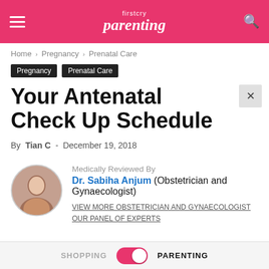firstcry Parenting
Home › Pregnancy › Prenatal Care
Pregnancy  Prenatal Care
Your Antenatal Check Up Schedule
By Tian C - December 19, 2018
Medically Reviewed By Dr. Sabiha Anjum (Obstetrician and Gynaecologist)
VIEW MORE OBSTETRICIAN AND GYNAECOLOGIST
OUR PANEL OF EXPERTS
SHOPPING  PARENTING